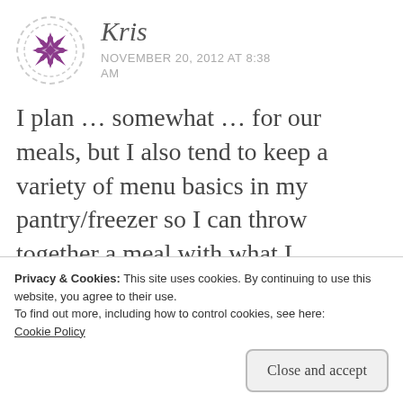[Figure (illustration): Purple snowflake/mandala avatar icon inside a dashed circular border]
Kris
NOVEMBER 20, 2012 AT 8:38 AM
I plan ... somewhat ... for our meals, but I also tend to keep a variety of menu basics in my pantry/freezer so I can throw together a meal with what I
Privacy & Cookies: This site uses cookies. By continuing to use this website, you agree to their use.
To find out more, including how to control cookies, see here:
Cookie Policy
Close and accept